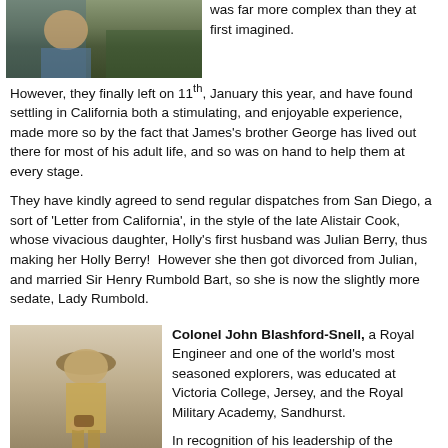[Figure (photo): Photo of a person outdoors, cropped at top of page]
was far more complex than they at first imagined. However, they finally left on 11th, January this year, and have found settling in California both a stimulating, and enjoyable experience, made more so by the fact that James's brother George has lived out there for most of his adult life, and so was on hand to help them at every stage.
They have kindly agreed to send regular dispatches from San Diego, a sort of 'Letter from California', in the style of the late Alistair Cook, whose vivacious daughter, Holly's first husband was Julian Berry, thus making her Holly Berry! However she then got divorced from Julian, and married Sir Henry Rumbold Bart, so she is now the slightly more sedate, Lady Rumbold.
[Figure (photo): Photo of Colonel John Blashford-Snell wearing a wide-brimmed hat and holding binoculars]
Colonel John Blashford-Snell, a Royal Engineer and one of the world's most seasoned explorers, was educated at Victoria College, Jersey, and the Royal Military Academy, Sandhurst.
In recognition of his leadership of the